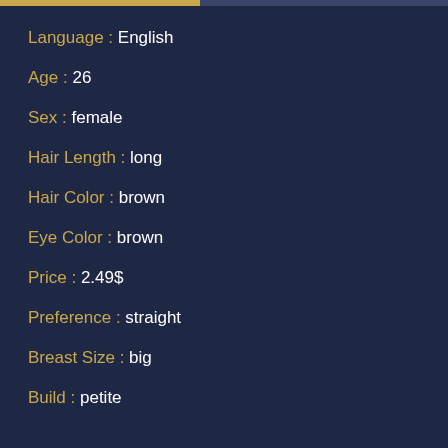Language : English
Age : 26
Sex : female
Hair Length : long
Hair Color : brown
Eye Color : brown
Price : 2.49$
Preference : straight
Breast Size : big
Build : petite